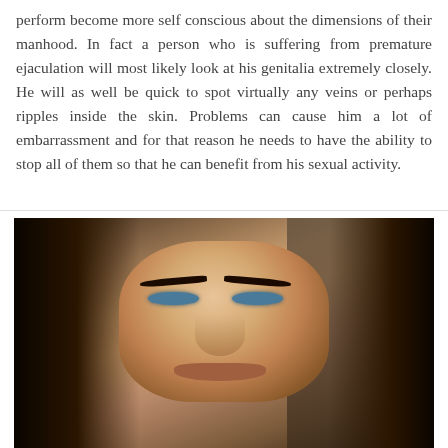perform become more self conscious about the dimensions of their manhood. In fact a person who is suffering from premature ejaculation will most likely look at his genitalia extremely closely. He will as well be quick to spot virtually any veins or perhaps ripples inside the skin. Problems can cause him a lot of embarrassment and for that reason he needs to have the ability to stop all of them so that he can benefit from his sexual activity.
[Figure (photo): Close-up portrait photo of a young woman with long brown hair and blue-grey eyes, looking directly at the camera. The background appears dark on the sides with what looks like a stone or brick structure visible on the right.]